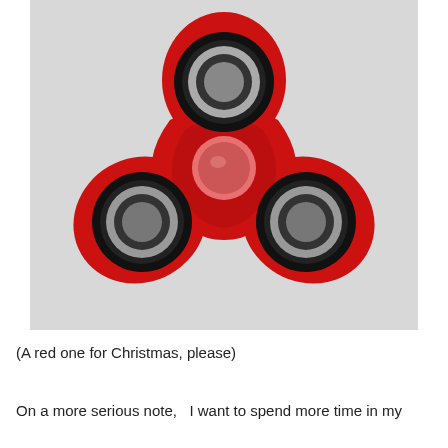[Figure (photo): A red fidget spinner toy on a white/light gray background. The spinner has three lobes, each with a black bearing ring and gray center hole. The central hub is a lighter red/salmon color dome. The spinner is photographed from above.]
(A red one for Christmas, please)
On a more serious note,   I want to spend more time in my